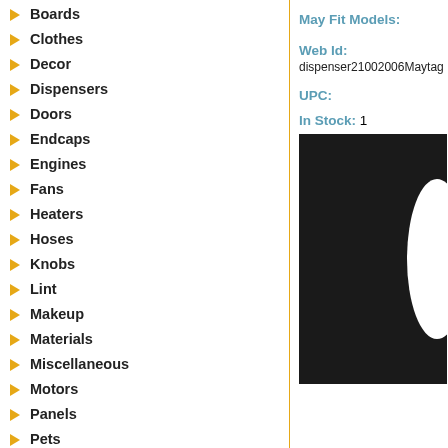Boards
Clothes
Decor
Dispensers
Doors
Endcaps
Engines
Fans
Heaters
Hoses
Knobs
Lint
Makeup
Materials
Miscellaneous
Motors
Panels
Pets
Printers
Pumps
Sensors
Shelves
Springs
May Fit Models:
Web Id:
dispenser21002006Maytag
UPC:
In Stock: 1
[Figure (photo): Product image on dark background with white oval shape visible on right side]